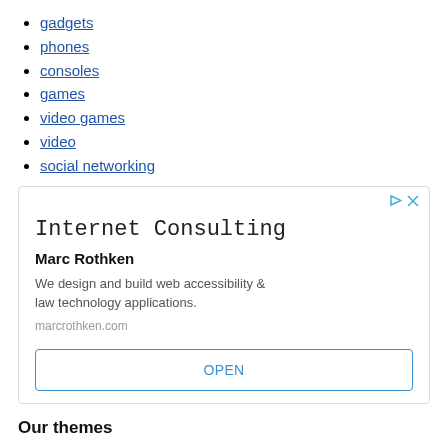gadgets
phones
consoles
games
video games
video
social networking
[Figure (other): Advertisement box for Internet Consulting by Marc Rothken. Contains title 'Internet Consulting', name 'Marc Rothken', description 'We design and build web accessibility & law technology applications.', URL 'marcrothken.com', and an OPEN button.]
Our themes